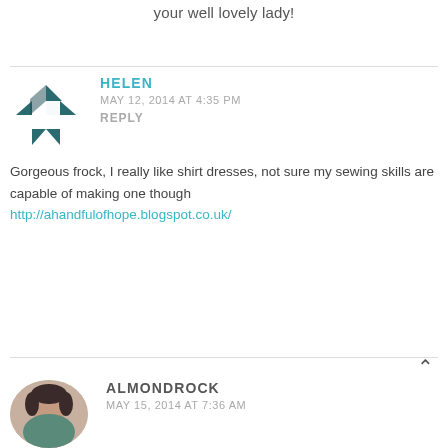your well lovely lady!
HELEN
MAY 12, 2014 AT 4:35 PM
REPLY
Gorgeous frock, I really like shirt dresses, not sure my sewing skills are capable of making one though
http://ahandfulofhope.blogspot.co.uk/
ALMONDROCK
MAY 15, 2014 AT 7:36 AM